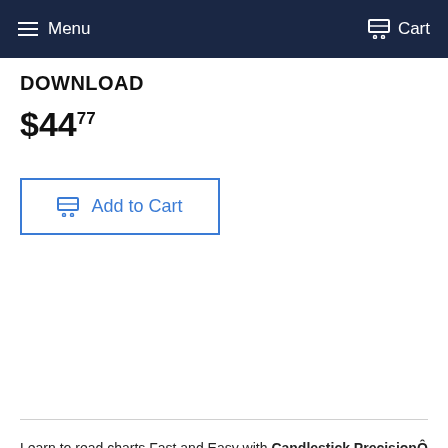Menu  Cart
DOWNLOAD
$44.77
Add to Cart
Learn to read charts Fast and Easy with Candlestick PrecisionÔ
Quick!
Look at the following chart. Is the price ready to go up?